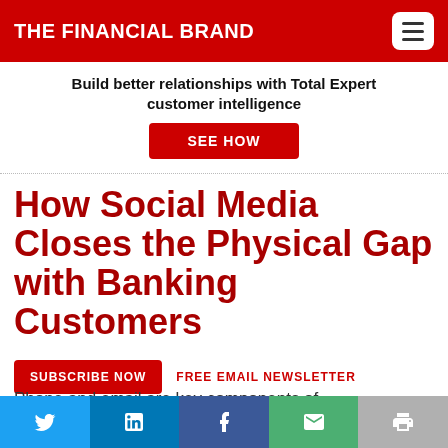THE FINANCIAL BRAND
Build better relationships with Total Expert customer intelligence
SEE HOW
How Social Media Closes the Physical Gap with Banking Customers
SUBSCRIBE NOW   FREE EMAIL NEWSLETTER
Phone and email are key components of